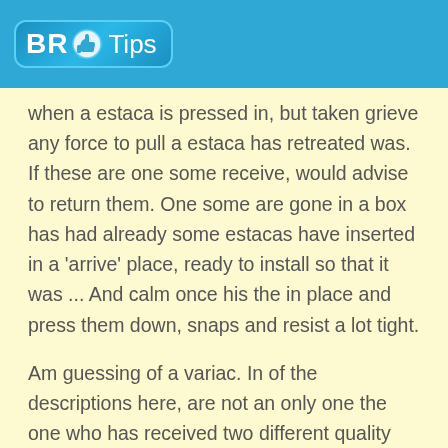[Figure (logo): BR Tips logo with blue background, thumbs up icon, and white text]
when a estaca is pressed in, but taken grieve any force to pull a estaca has retreated was. If these are one some receive, would advise to return them. One some are gone in a box has had already some estacas have inserted in a 'arrive' place, ready to install so that it was ... And calm once his the in place and press them down, snaps and resist a lot tight.
Am guessing of a variac. In of the descriptions here, are not an only one the one who has received two different quality clips of an examination undertaken', as I am not sure that is spending here.